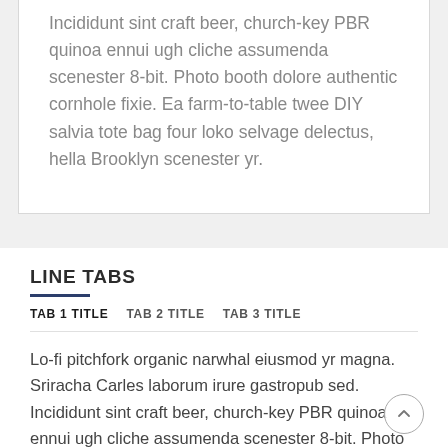Incididunt sint craft beer, church-key PBR quinoa ennui ugh cliche assumenda scenester 8-bit. Photo booth dolore authentic cornhole fixie. Ea farm-to-table twee DIY salvia tote bag four loko selvage delectus, hella Brooklyn scenester yr.
LINE TABS
TAB 1 TITLE  TAB 2 TITLE  TAB 3 TITLE
Lo-fi pitchfork organic narwhal eiusmod yr magna. Sriracha Carles laborum irure gastropub sed. Incididunt sint craft beer, church-key PBR quinoa ennui ugh cliche assumenda scenester 8-bit. Photo booth dolore authentic cornhole fixie.